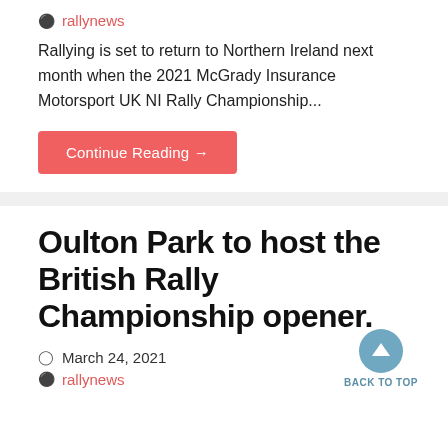rallynews
Rallying is set to return to Northern Ireland next month when the 2021 McGrady Insurance Motorsport UK NI Rally Championship...
Continue Reading →
Oulton Park to host the British Rally Championship opener.
March 24, 2021
rallynews